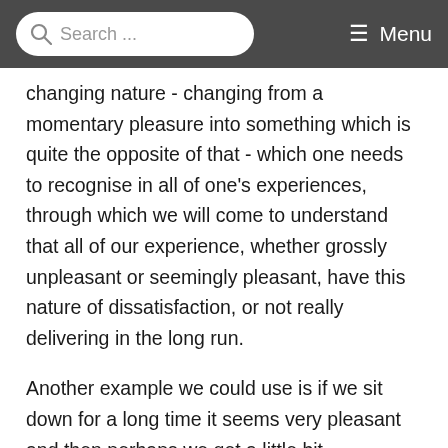Search ... Menu
changing nature - changing from a momentary pleasure into something which is quite the opposite of that - which one needs to recognise in all of one's experiences, through which we will come to understand that all of our experience, whether grossly unpleasant or seemingly pleasant, have this nature of dissatisfaction, or not really delivering in the long run.
Another example we could use is if we sit down for a long time it seems very pleasant and then perhaps we get a little bit uncomfortable and we want to move around. When we get up - we stand up and stretch perhaps - we feel great joy at having stood up; but again, this is only the joy which comes about